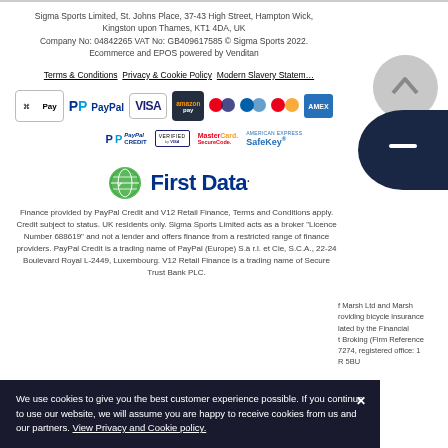Sigma Sports Limited, St. Johns Place, 37-43 High Street, Hampton Wick, Kingston upon Thames, KT1 4DA, UK
Company No: 04842265 VAT No: GB409617585 © Sigma Sports 2022. Ecommerce and EPOS powered by Venditan
Terms & Conditions  Privacy & Cookie Policy  Modern Slavery Statement
[Figure (logo): Payment method logos: Apple Pay, PayPal, VISA, Amazon Pay, Maestro, Cirrus, Mastercard, American Express]
[Figure (logo): Security logos: PayPal Credit, Verified by VISA, MasterCard SecureCode, American Express SafeKey]
[Figure (logo): First Data logo with globe icon]
Finance provided by PayPal Credit and V12 Retail Finance, Terms and Conditions apply. Credit subject to status. UK residents only. Sigma Sports Limited acts as a broker "Licence Number 688619" and not a lender and offers finance from a restricted range of finance providers. PayPal Credit is a trading name of PayPal (Europe) S.à r.l. et Cie, S.C.A., 22-24 Boulevard Royal L-2449, Luxembourg. V12 Retail Finance is a trading name of Secure Trust Bank PLC.
f Marsh Ltd and Marsh roviding bicycle insurance lated by the Financial t Broking (Firm Reference 7274, registered office: 1 R 5BU
We use cookies to give you the best customer experience possible. If you continue to use our website, we will assume you are happy to receive cookies from us and our partners. View Privacy and Cookie policy.